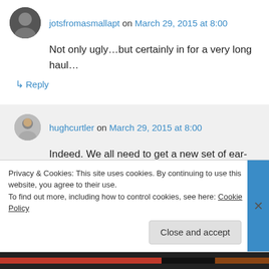jotsfromasmallapt on March 29, 2015 at 8:00
Not only ugly…but certainly in for a very long haul…
↳ Reply
hughcurtler on March 29, 2015 at 8:00
Indeed. We all need to get a new set of ear-plugs and get braced for some nasty
Privacy & Cookies: This site uses cookies. By continuing to use this website, you agree to their use. To find out more, including how to control cookies, see here: Cookie Policy
Close and accept